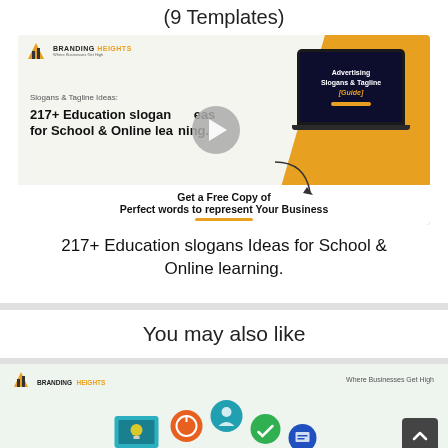(9 Templates)
[Figure (screenshot): Branding Heights thumbnail showing '217+ Education slogans Ideas for School & Online Learning' with laptop graphic and play button, plus CTA 'Get a Free Copy of Perfect words to represent Your Business']
217+ Education slogans Ideas for School & Online learning.
You may also like
[Figure (screenshot): Branding Heights card with icons for digital marketing topics, tagline 'Where Businesses Get High']